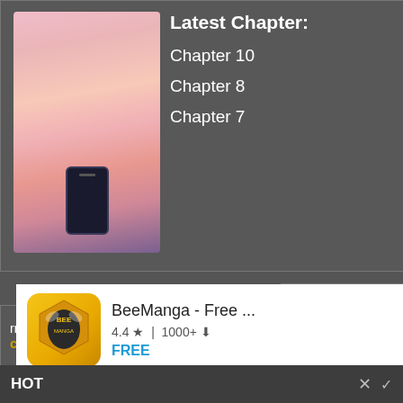[Figure (screenshot): Manga reader app screenshot showing chapter list with Latest Chapter: Chapter 10, Chapter 8, Chapter 7 and a manga cover image]
Latest Chapter:
Chapter 10
Chapter 8
Chapter 7
[Figure (screenshot): Google Play Store ad for BeeManga - Free app, rated 4.4 stars, 1000+ downloads, FREE]
BeeManga - Free ...
4.4 ★ | 1000+ ⬇
FREE
Best Free Webtoon Reader Apps
The Best Manhua Reader App
Google Play
INSTALL
HOT
Breeder
.5
rnabout of a
cubine